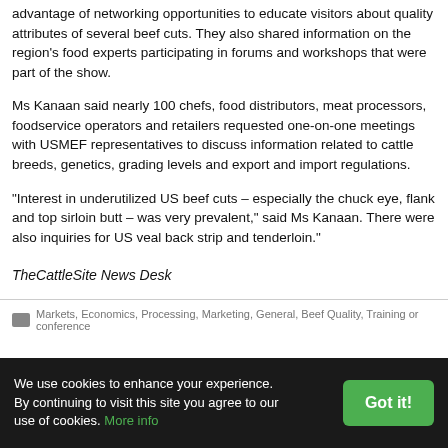advantage of networking opportunities to educate visitors about quality attributes of several beef cuts. They also shared information on the region's food experts participating in forums and workshops that were part of the show.
Ms Kanaan said nearly 100 chefs, food distributors, meat processors, foodservice operators and retailers requested one-on-one meetings with USMEF representatives to discuss information related to cattle breeds, genetics, grading levels and export and import regulations.
"Interest in underutilized US beef cuts – especially the chuck eye, flank and top sirloin butt – was very prevalent," said Ms Kanaan. There were also inquiries for US veal back strip and tenderloin."
TheCattleSite News Desk
Markets, Economics, Processing, Marketing, General, Beef Quality, Training or conference
We use cookies to enhance your experience. By continuing to visit this site you agree to our use of cookies. More info